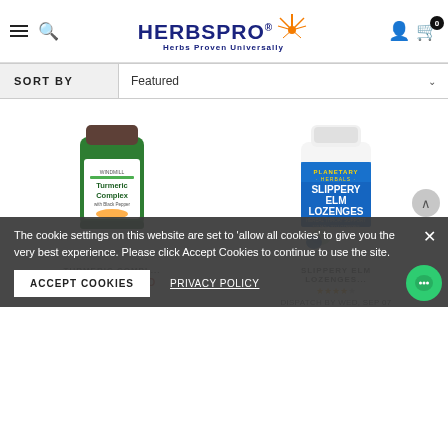HerbsPro - Herbs Proven Universally
SORT BY Featured
[Figure (screenshot): Product image of Turmeric Complex with Black Pepper supplement bottle (green bottle with brown cap)]
[Figure (screenshot): Product image of Planetary Herbals Slippery Elm Lozenges white bottle with blue label]
TURMERIC COMPL...
7.20 USD 6.58 USD
SAM...
SLIPPERY ELM LOZENGES...
DISPATCH BY WED, SEP 07
The cookie settings on this website are set to 'allow all cookies' to give you the very best experience. Please click Accept Cookies to continue to use the site.
ACCEPT COOKIES
PRIVACY POLICY